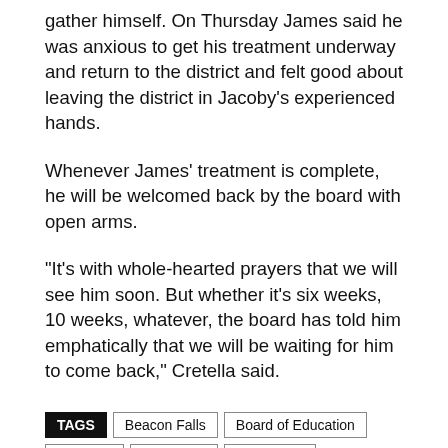gather himself. On Thursday James said he was anxious to get his treatment underway and return to the district and felt good about leaving the district in Jacoby's experienced hands.
Whenever James' treatment is complete, he will be welcomed back by the board with open arms.
“It’s with whole-hearted prayers that we will see him soon. But whether it’s six weeks, 10 weeks, whatever, the board has told him emphatically that we will be waiting for him to come back,” Cretella said.
TAGS: Beacon Falls | Board of Education | Prospect | Region 16 | Tim James